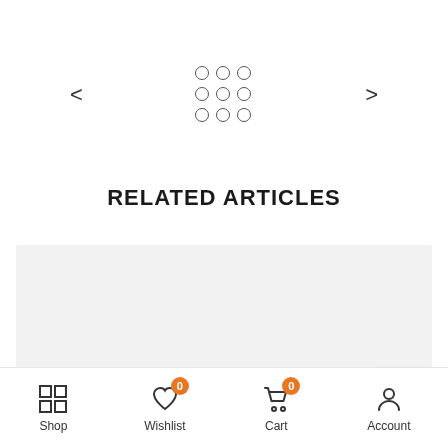[Figure (screenshot): Navigation controls: left arrow, 3x3 grid of circles icon, right arrow]
RELATED ARTICLES
[Figure (illustration): Gray placeholder content area with an orange infinity/loop symbol at the bottom center]
Shop  Wishlist (0)  Cart (0)  Account